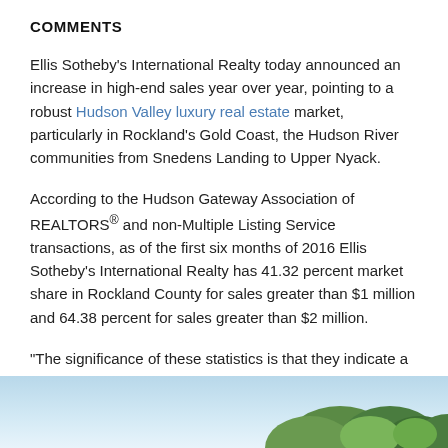COMMENTS
Ellis Sotheby's International Realty today announced an increase in high-end sales year over year, pointing to a robust Hudson Valley luxury real estate market, particularly in Rockland's Gold Coast, the Hudson River communities from Snedens Landing to Upper Nyack.
According to the Hudson Gateway Association of REALTORS® and non-Multiple Listing Service transactions, as of the first six months of 2016 Ellis Sotheby's International Realty has 41.32 percent market share in Rockland County for sales greater than $1 million and 64.38 percent for sales greater than $2 million.
“The significance of these statistics is that they indicate a healthy growth in the high-end market,” said Richard Ellis, owner of Ellis Sotheby’s International Realty. “The luxury market sets the pace for the overall market, so these are all positive indications for the Hudson Valley.”
[Figure (photo): Partial view of a landscape photo showing blue sky and green trees at the bottom of the page.]